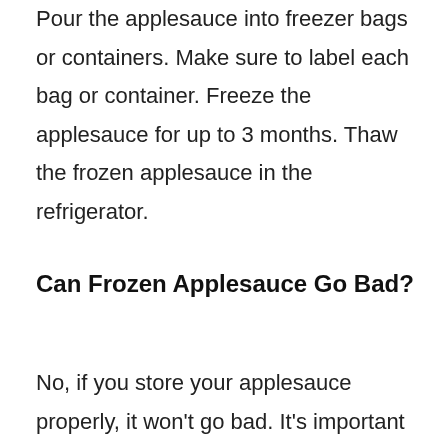Pour the applesauce into freezer bags or containers. Make sure to label each bag or container. Freeze the applesauce for up to 3 months. Thaw the frozen applesauce in the refrigerator.
Can Frozen Applesauce Go Bad?
No, if you store your applesauce properly, it won't go bad. It's important to